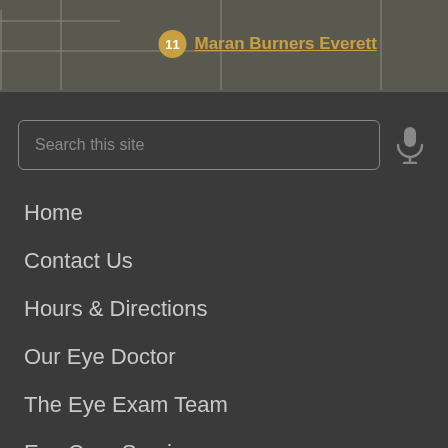[Figure (map): Partial map screenshot showing streets with a golden pin marker labeled '11' and text 'Maran Burners Everett' in golden/orange color]
Search this site
Home
Contact Us
Hours & Directions
Our Eye Doctor
The Eye Exam Team
Eye Care Services
Eyeglasses & Contacts